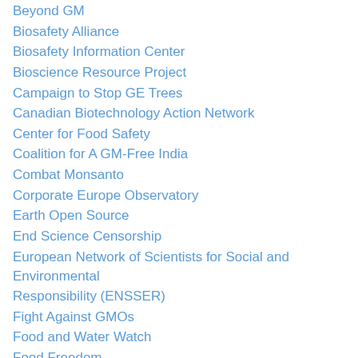Beyond GM
Biosafety Alliance
Biosafety Information Center
Bioscience Resource Project
Campaign to Stop GE Trees
Canadian Biotechnology Action Network
Center for Food Safety
Coalition for A GM-Free India
Combat Monsanto
Corporate Europe Observatory
Earth Open Source
End Science Censorship
European Network of Scientists for Social and Environmental Responsibility (ENSSER)
Fight Against GMOs
Food and Water Watch
Food Freedom
Friends of the Earth
Genetic Engineering Action Network
GeneWatch UK